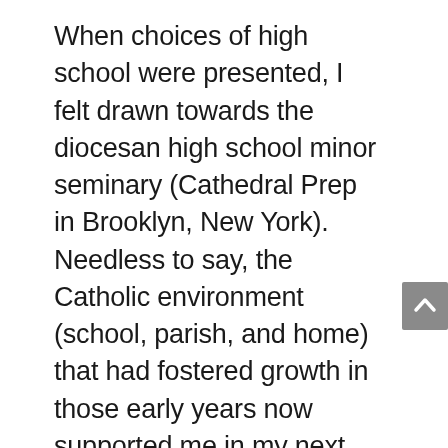When choices of high school were presented, I felt drawn towards the diocesan high school minor seminary (Cathedral Prep in Brooklyn, New York). Needless to say, the Catholic environment (school, parish, and home) that had fostered growth in those early years now supported me in my next endeavor. The high school seminary system enabled me to still live at home and travel each day to attend a six year program (four years of high school and the first two years of college) run by diocesan priests and once again two lay teachers! Of course, as expected, the education we received as minor seminarians was rooted in the teaching of the Catholic faith, but now we began to think on our own. There was an